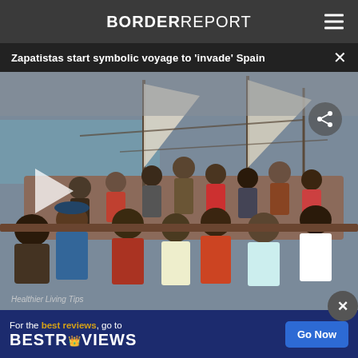BORDER REPORT
Zapatistas start symbolic voyage to 'invade' Spain
[Figure (photo): Crowd of people gathered on a large sailing vessel, photographing and filming what appears to be a departure ceremony. A play button overlay is visible on the left side indicating this is a video thumbnail.]
Healthier Living Tips
[Figure (infographic): BestReviews advertisement banner: 'For the best reviews, go to BESTREVIEWS' with a 'Go Now' button on a dark blue background.]